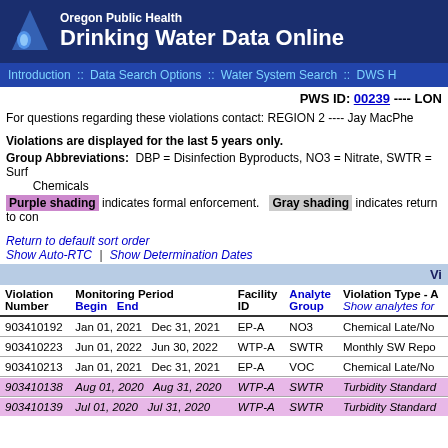Oregon Public Health Drinking Water Data Online
Introduction :: Data Search Options :: Water System Search :: DWS H
PWS ID: 00239 ---- LON
For questions regarding these violations contact: REGION 2 ---- Jay MacPhe
Violations are displayed for the last 5 years only.
Group Abbreviations: DBP = Disinfection Byproducts, NO3 = Nitrate, SWTR = Surf Chemicals
Purple shading indicates formal enforcement. Gray shading indicates return to con
Return to default sort order
Show Auto-RTC | Show Determination Dates
| Violation Number | Monitoring Period Begin | Monitoring Period End | Facility ID | Analyte Group | Violation Type - A |
| --- | --- | --- | --- | --- | --- |
| 903410192 | Jan 01, 2021 | Dec 31, 2021 | EP-A | NO3 | Chemical Late/No |
| 903410223 | Jun 01, 2022 | Jun 30, 2022 | WTP-A | SWTR | Monthly SW Repo |
| 903410213 | Jan 01, 2021 | Dec 31, 2021 | EP-A | VOC | Chemical Late/No |
| 903410138 | Aug 01, 2020 | Aug 31, 2020 | WTP-A | SWTR | Turbidity Standard |
| 903410139 | Jul 01, 2020 | Jul 31, 2020 | WTP-A | SWTR | Turbidity Standard |